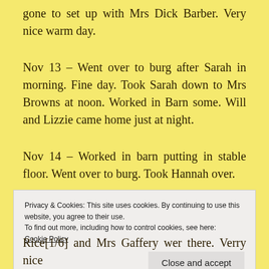gone to set up with Mrs Dick Barber. Very nice warm day.
Nov 13 – Went over to burg after Sarah in morning. Fine day. Took Sarah down to Mrs Browns at noon. Worked in Barn some. Will and Lizzie came home just at night.
Nov 14 – Worked in barn putting in stable floor. Went over to burg. Took Hannah over.
Privacy & Cookies: This site uses cookies. By continuing to use this website, you agree to their use.
To find out more, including how to control cookies, see here:
Cookie Policy
Close and accept
Rice[1/6] and Mrs Gaffery wer there. Verry nice